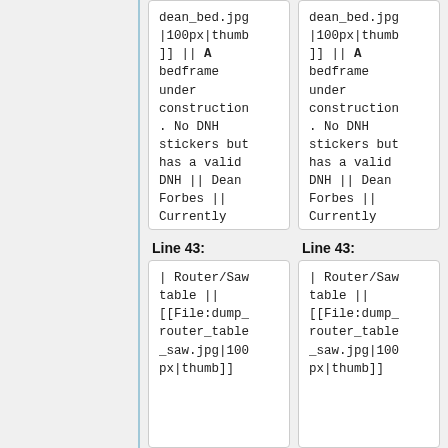dean_bed.jpg|100px|thumb]] || A bedframe under construction. No DNH stickers but has a valid DNH || Dean Forbes || Currently being worked on
dean_bed.jpg|100px|thumb]] || A bedframe under construction. No DNH stickers but has a valid DNH || Dean Forbes || Currently being worked on
Line 43:
Line 43:
| Router/Sawtable || [[File:dump_router_table_saw.jpg|100px|thumb]]
| Router/Sawtable || [[File:dump_router_table_saw.jpg|100px|thumb]]